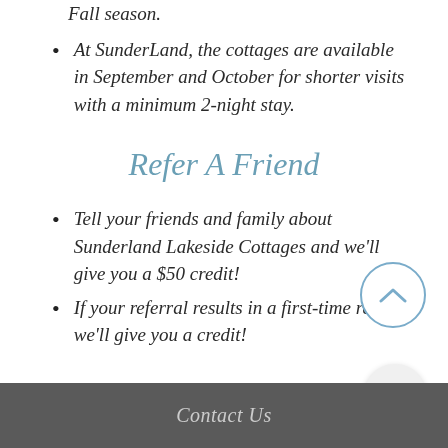Fall season.
At SunderLand, the cottages are available in September and October for shorter visits with a minimum 2-night stay.
Refer A Friend
Tell your friends and family about Sunderland Lakeside Cottages and we'll give you a $50 credit!
If your referral results in a first-time rental, we'll give you a credit!
Contact Us